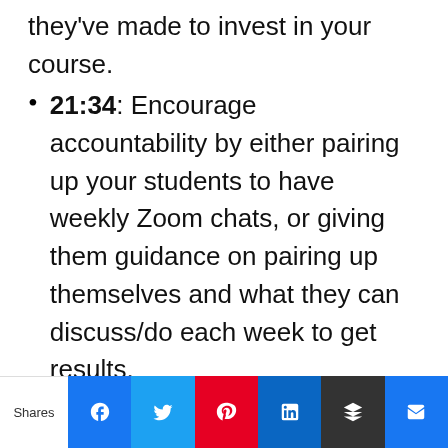they've made to invest in your course.
21:34: Encourage accountability by either pairing up your students to have weekly Zoom chats, or giving them guidance on pairing up themselves and what they can discuss/do each week to get results.
26:24: Give rewards or prizes for the most engaged and dedicated students. Amy shares some great examples here.